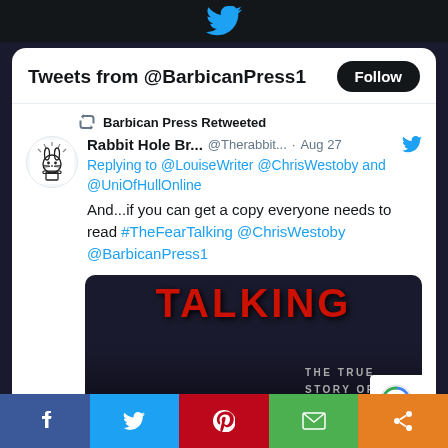Twitter bird logo / top navigation bar
Tweets from @BarbicanPress1
Barbican Press Retweeted
Rabbit Hole Br... @Therabbit... · Aug 27
Replying to @LouiseWriter @ChrisWestoby and @UniOfHullOnline
And...if you can get a copy everyone needs to read #TheFearTalking @ChrisWestoby @BarbicanPress1
[Figure (photo): Book cover image showing the word TALKING in large red letters and subtitle text reading THE TRUE STORY OF A YOUNG MA (truncated)]
Social share buttons: Facebook, Twitter, Pinterest, Email, Share